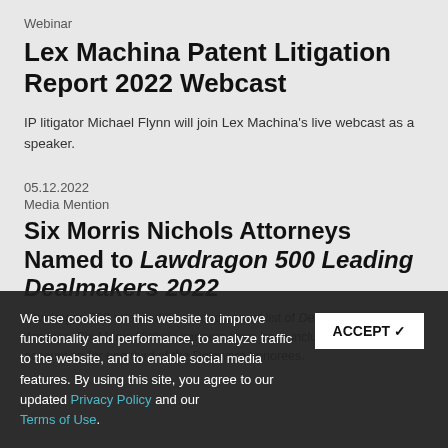Webinar
Lex Machina Patent Litigation Report 2022 Webcast
IP litigator Michael Flynn will join Lex Machina's live webcast as a speaker.
05.12.2022
Media Mention
Six Morris Nichols Attorneys Named to Lawdragon 500 Leading Dealmakers 2022
Lawdragon 500 released its second annual list of Dealmakers in America. Six Morris Nichols partners have been included in the list, accounting for one third of the Delaware honorees.
We use cookies on this website to improve functionality and performance, to analyze traffic to the website, and to enable social media features. By using this site, you agree to our updated Privacy Policy and our Terms of Use.